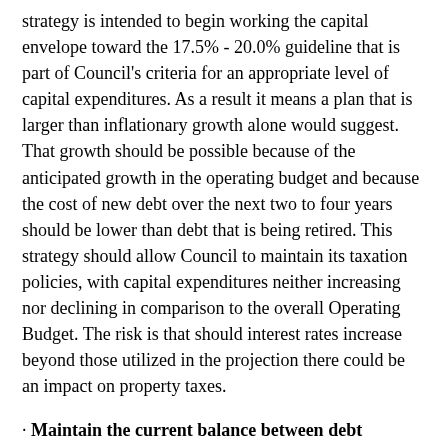strategy is intended to begin working the capital envelope toward the 17.5% - 20.0% guideline that is part of Council's criteria for an appropriate level of capital expenditures. As a result it means a plan that is larger than inflationary growth alone would suggest. That growth should be possible because of the anticipated growth in the operating budget and because the cost of new debt over the next two to four years should be lower than debt that is being retired. This strategy should allow Council to maintain its taxation policies, with capital expenditures neither increasing nor declining in comparison to the overall Operating Budget. The risk is that should interest rates increase beyond those utilized in the projection there could be an impact on property taxes.
· Maintain the current balance between debt financing and capital from revenue. There are often arguments made for substituting debt for capital from revenue becausethe cost of $1 of debt on an annual basis is less than $1 of current tax revenue. However, the Director of Finance believes that the balance between debt and capital from revenue (78%:22%) is already tipped in favour of the former and would look for opportunities to increase rather than decrease